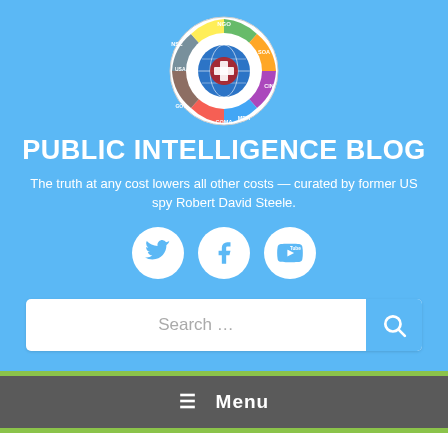[Figure (logo): Round logo of Public Intelligence Blog / Crisis Geopolitique Network showing a fire hydrant globe surrounded by colored segments labeled NGO, NSC, SOA, CIN, MDA, CCMA, COV, CEMA, USA]
PUBLIC INTELLIGENCE BLOG
The truth at any cost lowers all other costs — curated by former US spy Robert David Steele.
[Figure (infographic): Three circular social media icons: Twitter bird, Facebook f, and YouTube logo, white on light blue background]
Search …
≡ Menu
1989/07/05
1989 General Al Gray with Robert